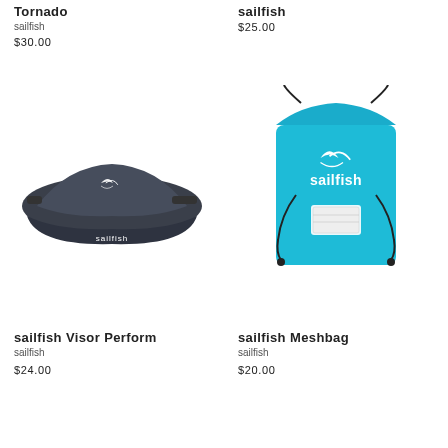Tornado
sailfish
$30.00
sailfish
$25.00
[Figure (photo): Dark grey sailfish visor cap with white sailfish logo on front panel]
[Figure (photo): Bright blue sailfish drawstring mesh bag with white sailfish logo and label patch]
sailfish Visor Perform
sailfish
$24.00
sailfish Meshbag
sailfish
$20.00